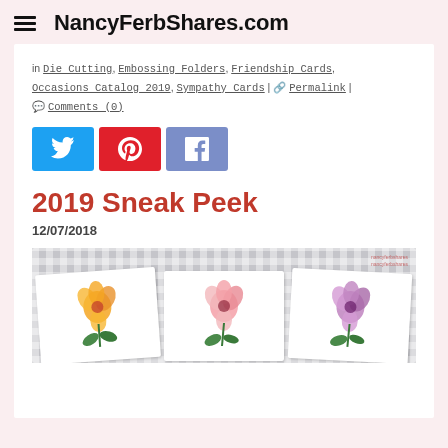NancyFerbShares.com
in Die Cutting, Embossing Folders, Friendship Cards, Occasions Catalog 2019, Sympathy Cards | Permalink | Comments (0)
[Figure (other): Social media share buttons: Twitter (blue), Pinterest (red), Facebook (blue-grey)]
2019 Sneak Peek
12/07/2018
[Figure (photo): Photo of three hand-stamped flower cards (orange, pink, and purple hibiscus flowers) arranged on a black and white gingham background]